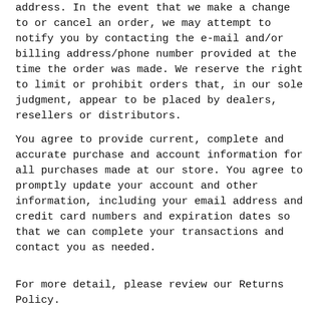address. In the event that we make a change to or cancel an order, we may attempt to notify you by contacting the e-mail and/or billing address/phone number provided at the time the order was made. We reserve the right to limit or prohibit orders that, in our sole judgment, appear to be placed by dealers, resellers or distributors.
You agree to provide current, complete and accurate purchase and account information for all purchases made at our store. You agree to promptly update your account and other information, including your email address and credit card numbers and expiration dates so that we can complete your transactions and contact you as needed.
For more detail, please review our Returns Policy.